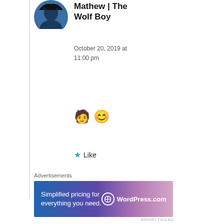Mathew | The Wolf Boy
October 20, 2019 at 11:00 pm
🧑 😊
★ Like
Advertisements
[Figure (screenshot): WordPress.com advertisement banner: 'Simplified pricing for everything you need.' with WordPress.com logo on gradient blue-purple background]
REPORT THIS AD
LisaDay
December 19, 2019 at 10:40 am
These are great suggestions. I tend not to look at